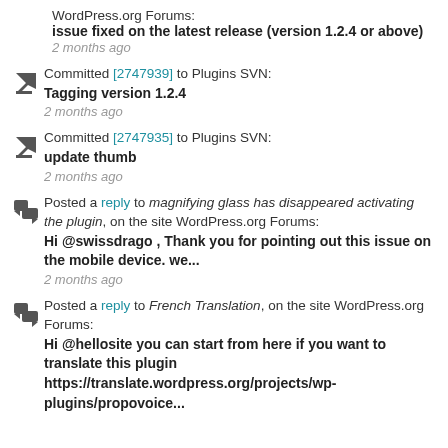WordPress.org Forums: issue fixed on the latest release (version 1.2.4 or above)
2 months ago
Committed [2747939] to Plugins SVN: Tagging version 1.2.4
2 months ago
Committed [2747935] to Plugins SVN: update thumb
2 months ago
Posted a reply to magnifying glass has disappeared activating the plugin, on the site WordPress.org Forums: Hi @swissdrago , Thank you for pointing out this issue on the mobile device. we...
2 months ago
Posted a reply to French Translation, on the site WordPress.org Forums: Hi @hellosite you can start from here if you want to translate this plugin https://translate.wordpress.org/projects/wp-plugins/propovoice...